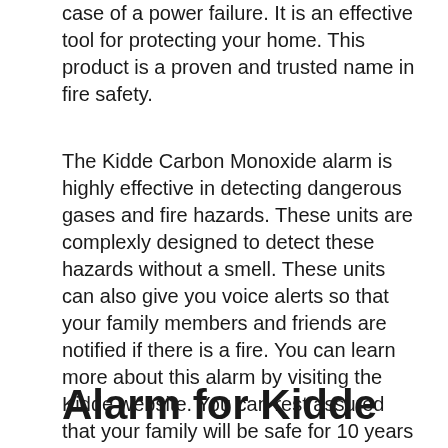case of a power failure. It is an effective tool for protecting your home. This product is a proven and trusted name in fire safety.
The Kidde Carbon Monoxide alarm is highly effective in detecting dangerous gases and fire hazards. These units are complexly designed to detect these hazards without a smell. These units can also give you voice alerts so that your family members and friends are notified if there is a fire. You can learn more about this alarm by visiting the Kidde website. You can rest assured that your family will be safe for 10 years after you purchase a Kidde Carbon Monoxide Alarm.
Alarm for Kidde